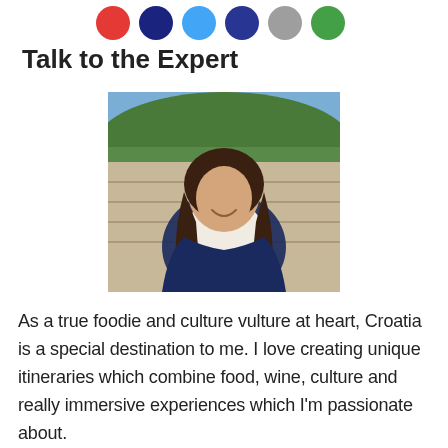[Figure (infographic): Row of social media sharing icon circles: red, dark blue, light blue, dark blue, gray, green]
Talk to the Expert
[Figure (photo): A woman with long dark curly hair wearing a white top and dark navy cardigan, smiling outdoors with terraced hillside and trees in background]
As a true foodie and culture vulture at heart, Croatia is a special destination to me. I love creating unique itineraries which combine food, wine, culture and really immersive experiences which I'm passionate about.